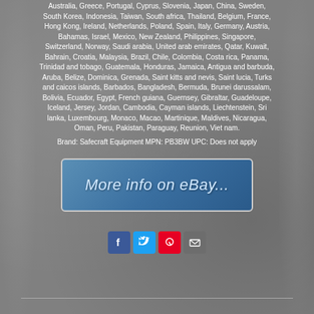Australia, Greece, Portugal, Cyprus, Slovenia, Japan, China, Sweden, South Korea, Indonesia, Taiwan, South africa, Thailand, Belgium, France, Hong Kong, Ireland, Netherlands, Poland, Spain, Italy, Germany, Austria, Bahamas, Israel, Mexico, New Zealand, Philippines, Singapore, Switzerland, Norway, Saudi arabia, United arab emirates, Qatar, Kuwait, Bahrain, Croatia, Malaysia, Brazil, Chile, Colombia, Costa rica, Panama, Trinidad and tobago, Guatemala, Honduras, Jamaica, Antigua and barbuda, Aruba, Belize, Dominica, Grenada, Saint kitts and nevis, Saint lucia, Turks and caicos islands, Barbados, Bangladesh, Bermuda, Brunei darussalam, Bolivia, Ecuador, Egypt, French guiana, Guernsey, Gibraltar, Guadeloupe, Iceland, Jersey, Jordan, Cambodia, Cayman islands, Liechtenstein, Sri lanka, Luxembourg, Monaco, Macao, Martinique, Maldives, Nicaragua, Oman, Peru, Pakistan, Paraguay, Reunion, Viet nam.
Brand: Safecraft Equipment MPN: PB3BW UPC: Does not apply
[Figure (other): eBay listing banner with text 'More info on eBay...' on a blue gradient background with rounded border]
[Figure (other): Social share buttons: Facebook (blue), Twitter (light blue), Pinterest (red), Email (grey)]